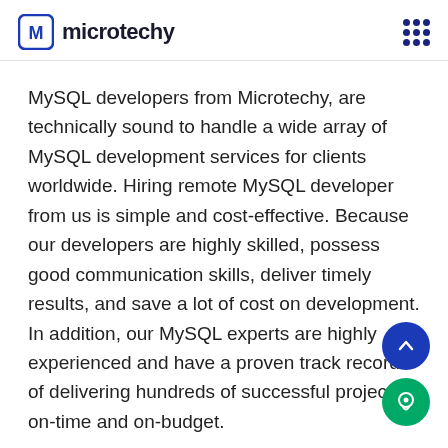microtechy
MySQL developers from Microtechy, are technically sound to handle a wide array of MySQL development services for clients worldwide. Hiring remote MySQL developer from us is simple and cost-effective. Because our developers are highly skilled, possess good communication skills, deliver timely results, and save a lot of cost on development. In addition, our MySQL experts are highly experienced and have a proven track record of delivering hundreds of successful projects, on-time and on-budget.